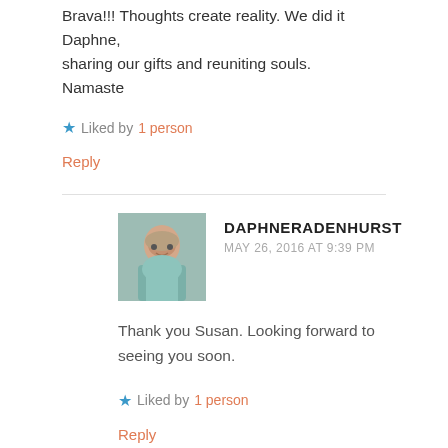Brava!!! Thoughts create reality. We did it Daphne, sharing our gifts and reuniting souls.
Namaste
★ Liked by 1 person
Reply
[Figure (photo): Avatar photo of Daphneradenhurst, an older woman smiling, wearing glasses and a light teal top]
DAPHNERADENHURST
MAY 26, 2016 AT 9:39 PM
Thank you Susan. Looking forward to seeing you soon.
★ Liked by 1 person
Reply